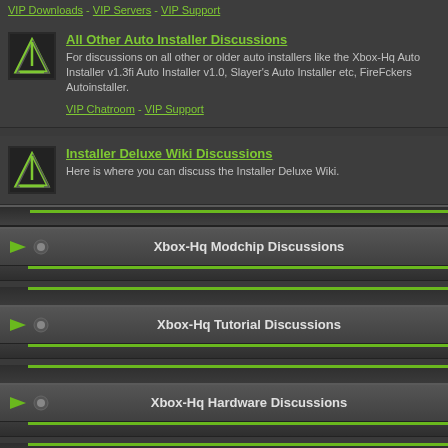VIP Downloads - VIP Servers - VIP Support
All Other Auto Installer Discussions
For discussions on all other or older auto installers like the Xbox-Hq Auto Installer v1.3fi Auto Installer v1.0, Slayer's Auto Installer etc, FireFckers Autoinstaller.
VIP Chatroom - VIP Support
Installer Deluxe Wiki Discussions
Here is where you can discuss the Installer Deluxe Wiki.
Xbox-Hq Modchip Discussions
Xbox-Hq Tutorial Discussions
Xbox-Hq Hardware Discussions
Xbox-Hq Software Discussions